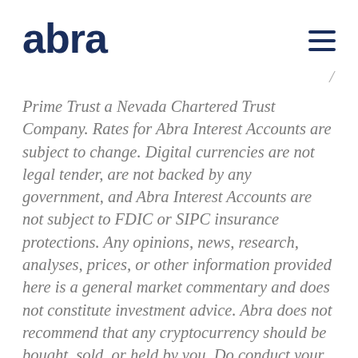abra
Prime Trust a Nevada Chartered Trust Company. Rates for Abra Interest Accounts are subject to change. Digital currencies are not legal tender, are not backed by any government, and Abra Interest Accounts are not subject to FDIC or SIPC insurance protections. Any opinions, news, research, analyses, prices, or other information provided here is a general market commentary and does not constitute investment advice. Abra does not recommend that any cryptocurrency should be bought, sold, or held by you. Do conduct your own due diligence and consult your financial advisor before making any investment